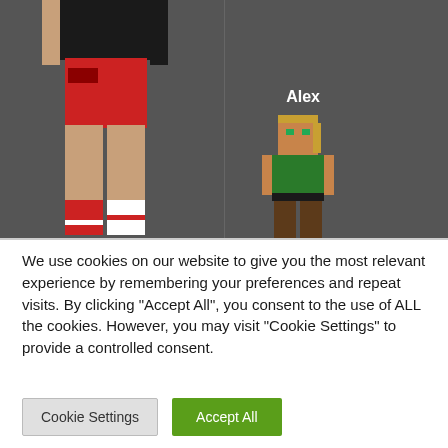[Figure (screenshot): Minecraft character selection screen showing a large partially-cropped custom skin character on the left with red shorts and boots, and the default 'Alex' character on the right with a label 'Alex' above her. Dark grey background with a vertical dividing line.]
We use cookies on our website to give you the most relevant experience by remembering your preferences and repeat visits. By clicking "Accept All", you consent to the use of ALL the cookies. However, you may visit "Cookie Settings" to provide a controlled consent.
Cookie Settings
Accept All